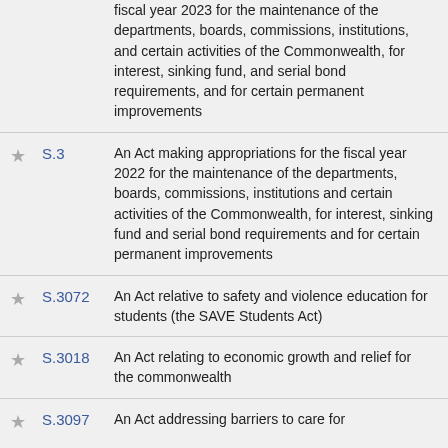fiscal year 2023 for the maintenance of the departments, boards, commissions, institutions, and certain activities of the Commonwealth, for interest, sinking fund, and serial bond requirements, and for certain permanent improvements
S.3 An Act making appropriations for the fiscal year 2022 for the maintenance of the departments, boards, commissions, institutions and certain activities of the Commonwealth, for interest, sinking fund and serial bond requirements and for certain permanent improvements
S.3072 An Act relative to safety and violence education for students (the SAVE Students Act)
S.3018 An Act relating to economic growth and relief for the commonwealth
S.3097 An Act addressing barriers to care for